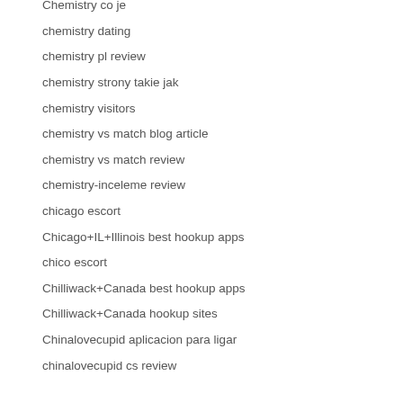Chemistry co je
chemistry dating
chemistry pl review
chemistry strony takie jak
chemistry visitors
chemistry vs match blog article
chemistry vs match review
chemistry-inceleme review
chicago escort
Chicago+IL+Illinois best hookup apps
chico escort
Chilliwack+Canada best hookup apps
Chilliwack+Canada hookup sites
Chinalovecupid aplicacion para ligar
chinalovecupid cs review